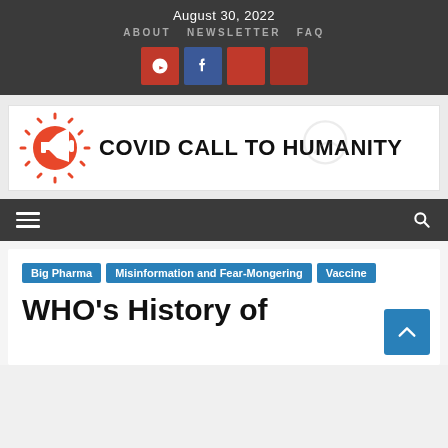August 30, 2022
ABOUT   NEWSLETTER   FAQ
[Figure (logo): Social media icon buttons: Telegram (red), Facebook (blue), and two red buttons]
[Figure (logo): Covid Call to Humanity logo banner with orange virus/megaphone icon and bold black text 'COVID CALL TO HUMANITY']
Navigation bar with hamburger menu and search icon
Big Pharma
Misinformation and Fear-Mongering
Vaccine
WHO's History of